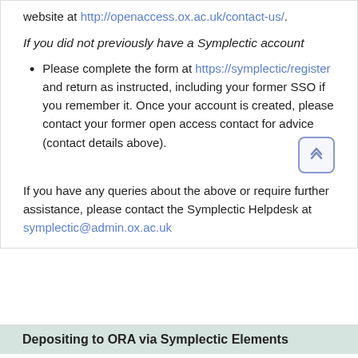website at http://openaccess.ox.ac.uk/contact-us/.
If you did not previously have a Symplectic account
Please complete the form at https://symplectic/register and return as instructed, including your former SSO if you remember it. Once your account is created, please contact your former open access contact for advice (contact details above).
If you have any queries about the above or require further assistance, please contact the Symplectic Helpdesk at symplectic@admin.ox.ac.uk
Depositing to ORA via Symplectic Elements